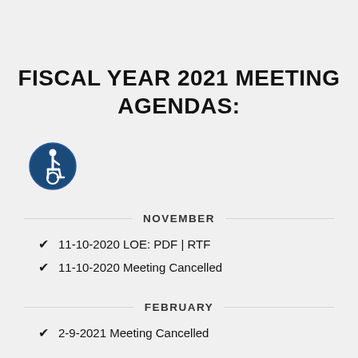FISCAL YEAR 2021 MEETING AGENDAS:
[Figure (illustration): Blue circular accessibility icon (wheelchair user symbol) with white figure on dark blue background]
NOVEMBER
11-10-2020 LOE: PDF | RTF
11-10-2020 Meeting Cancelled
FEBRUARY
2-9-2021 Meeting Cancelled